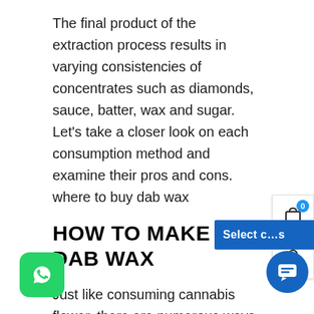The final product of the extraction process results in varying consistencies of concentrates such as diamonds, sauce, batter, wax and sugar. Let's take a closer look on each consumption method and examine their pros and cons. where to buy dab wax
HOW TO MAKE DAB WAX
Just like consuming cannabis flower, there are numerous ways to enjoy your cannabis concentrates. Here are some examples of how you can enjoy your dabs:
If heating a dab nail with a hand-held torch sounds intimidating, there is an option to use an e-nail with a dab rig. The e-nail or electronic nail is essentially a heating element that you place on top of the nail. One major benefit to using an e-nail with your dab rig